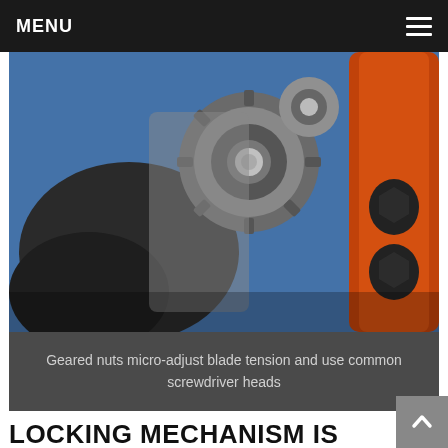MENU
[Figure (photo): Close-up photo of metal geared nuts and tool components including wrenches and pruner handles on a blue background. Shows geared adjustment nuts, a bolt, and an orange/black handled tool.]
Geared nuts micro-adjust blade tension and use common screwdriver heads
LOCKING MECHANISM IS TOUGH TO USE
The blades are locked in place with a thumb operated push lock (bolt type mechanism). I found it tough to get the bolt closed or opened with a simple slide of the thumb when holding the pruner in one hand. I have strong hands and had to really squeeze down on the handles